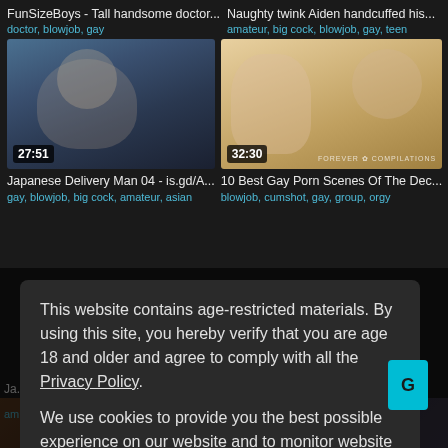FunSizeBoys - Tall handsome doctor...
doctor, blowjob, gay
Naughty twink Aiden handcuffed his...
amateur, big cock, blowjob, gay, teen
[Figure (photo): Video thumbnail showing Asian man, duration 27:51]
[Figure (photo): Video thumbnail showing two men outdoors, duration 32:30, Forever Compilations watermark]
Japanese Delivery Man 04 - is.gd/A...
gay, blowjob, big cock, amateur, asian
10 Best Gay Porn Scenes Of The Dec...
blowjob, cumshot, gay, group, orgy
This website contains age-restricted materials. By using this site, you hereby verify that you are age 18 and older and agree to comply with all the Privacy Policy.
We use cookies to provide you the best possible experience on our website and to monitor website traffic. Cookies Policy.